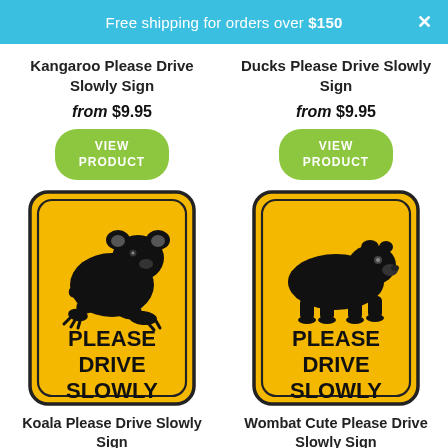Free shipping for orders over $150
Kangaroo Please Drive Slowly Sign
from $9.95
VIEW PRODUCT
Ducks Please Drive Slowly Sign
from $9.95
VIEW PRODUCT
[Figure (illustration): Yellow road sign with koala silhouette and text PLEASE DRIVE SLOWLY]
[Figure (illustration): Yellow road sign with wombat silhouette and text PLEASE DRIVE SLOWLY]
Koala Please Drive Slowly Sign
Wombat Cute Please Drive Slowly Sign